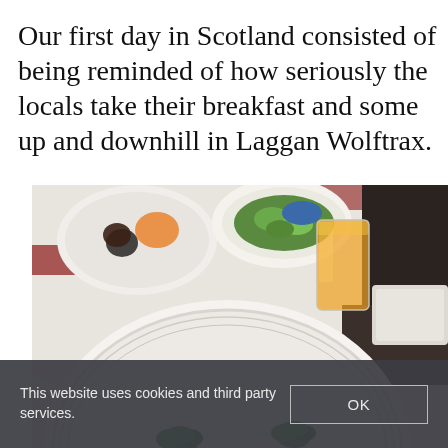Our first day in Scotland consisted of being reminded of how seriously the locals take their breakfast and some up and downhill in Laggan Wolftrax.
[Figure (photo): Top-down view of a breakfast plate with eggs Benedict topped with poached eggs, hollandaise sauce, bacon and parsley, on a white decorative plate, with orange juice glass, condiments and other dishes visible on a white tablecloth]
This website uses cookies and third party services.